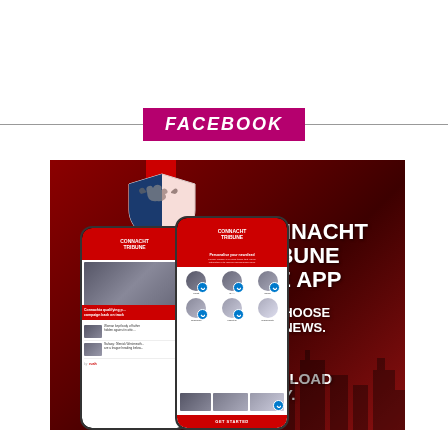[Figure (other): Facebook section divider with magenta/pink badge reading FACEBOOK in white bold italic text, flanked by horizontal lines on both sides]
[Figure (advertisement): Connacht Tribune Live App advertisement on dark red background showing two smartphone mockups with the app interface, a shield logo, and text: CONNACHT TRIBUNE LIVE APP / YOU CHOOSE YOUR NEWS. / DOWNLOAD TODAY.]